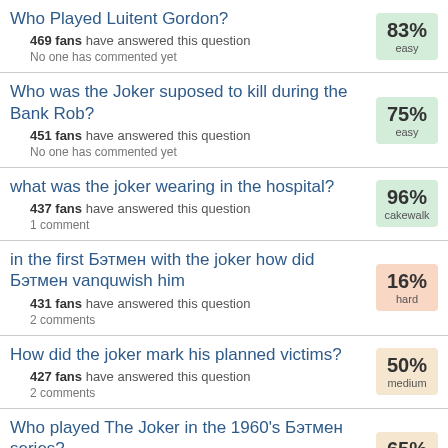Who Played Luitent Gordon? 469 fans have answered this question. No one has commented yet. 83% easy
Who was the Joker suposed to kill during the Bank Rob? 451 fans have answered this question. No one has commented yet. 75% easy
what was the joker wearing in the hospital? 437 fans have answered this question. 1 comment. 96% cakewalk
in the first Бэтмен with the joker how did Бэтмен vanquwish him. 431 fans have answered this question. 2 comments. 16% hard
How did the joker mark his planned victims? 427 fans have answered this question. 2 comments. 50% medium
Who played The Joker in the 1960's Бэтмен series? 425 fans have answered this question. No one has commented yet. 65% medium